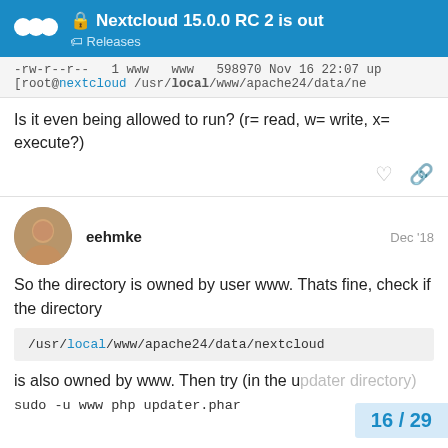🔒 Nextcloud 15.0.0 RC 2 is out — 🏷 Releases
-rw-r--r--  1 www  www  598970 Nov 16 22:07 up
[root@nextcloud /usr/local/www/apache24/data/ne
Is it even being allowed to run? (r= read, w= write, x= execute?)
eehmke   Dec '18
So the directory is owned by user www. Thats fine, check if the directory
/usr/local/www/apache24/data/nextcloud
is also owned by www. Then try (in the updater directory)
sudo -u www php updater.phar